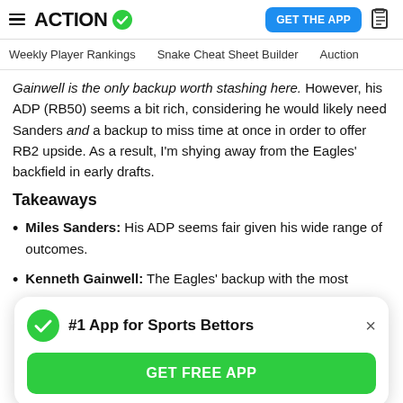ACTION [logo with checkmark] | GET THE APP [button] | [document icon]
Weekly Player Rankings   Snake Cheat Sheet Builder   Auction
Gainwell is the only backup worth stashing here. However, his ADP (RB50) seems a bit rich, considering he would likely need Sanders and a backup to miss time at once in order to offer RB2 upside. As a result, I'm shying away from the Eagles' backfield in early drafts.
Takeaways
Miles Sanders: His ADP seems fair given his wide range of outcomes.
Kenneth Gainwell: The Eagles' backup with the most
[Figure (infographic): Popup card: green checkmark icon, bold title '#1 App for Sports Bettors', X close button, green 'GET FREE APP' button]
Pittsburgh Steelers